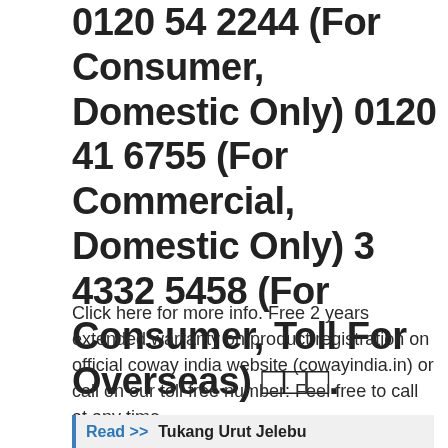0120 54 2244 (For Consumer, Domestic Only) 0120 41 6755 (For Commercial, Domestic Only) 3 4332 5458 (For Consumer, Toll For Overseas) □□□.
Click here for more info. Free 2 years extended warranty on product registration on official coway india website (cowayindia.in) or call on our toll free number: Feel free to call at any time.
Read >> Tukang Urut Jelebu